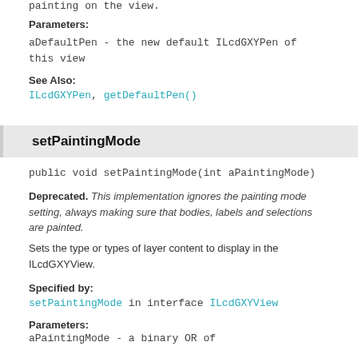painting on the view.
Parameters:
aDefaultPen - the new default ILcdGXYPen of this view
See Also:
ILcdGXYPen, getDefaultPen()
setPaintingMode
public void setPaintingMode(int aPaintingMode)
Deprecated. This implementation ignores the painting mode setting, always making sure that bodies, labels and selections are painted.
Sets the type or types of layer content to display in the ILcdGXYView.
Specified by:
setPaintingMode in interface ILcdGXYView
Parameters:
aPaintingMode - a binary OR of